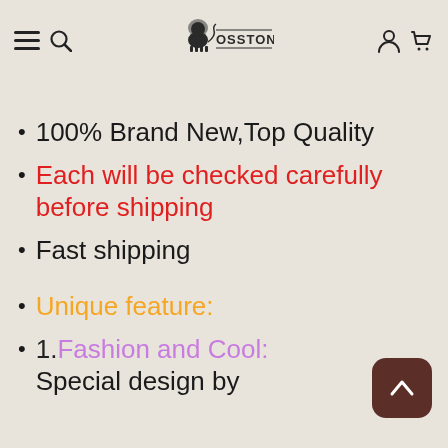OSSTONE (logo/brand name in header navigation)
100% Brand New,Top Quality
Each will be checked carefully before shipping
Fast shipping
Unique feature:
1. Fashion and Cool: Special design by